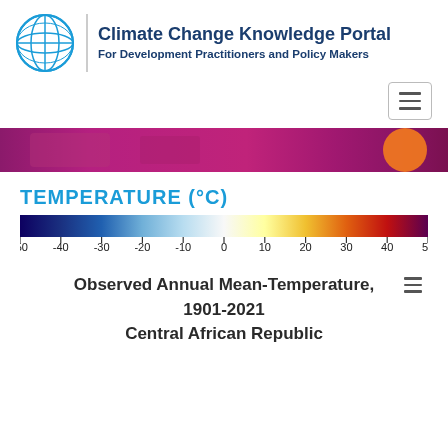Climate Change Knowledge Portal — For Development Practitioners and Policy Makers
[Figure (infographic): Horizontal banner strip showing a map visualization with purple/magenta gradient and an orange circle in the right portion, representing temperature data.]
TEMPERATURE (°C)
[Figure (infographic): Temperature color scale bar ranging from dark navy blue on the left to dark purple/maroon on the right, passing through light blue, white, yellow, orange, and red. Axis labels: -50, -40, -30, -20, -10, 0, 10, 20, 30, 40, 50]
Observed Annual Mean-Temperature, 1901-2021
Central African Republic